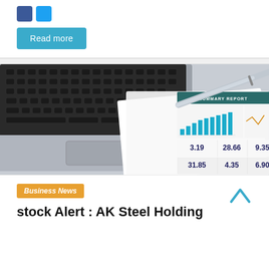[Figure (other): Social media sharing icons: Facebook (blue) and Twitter/email (light blue)]
Read more
[Figure (photo): Photo of a laptop keyboard with a summary report document showing bar charts, line charts, and financial figures (3.19, 28.66, 9.35, 31.85, 4.35, 6.90) with a silver pen resting on top]
Business News
stock Alert : AK Steel Holding